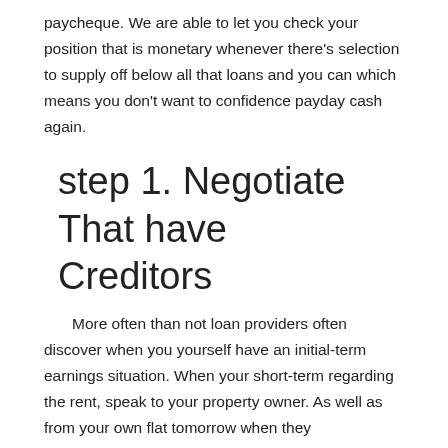paycheque. We are able to let you check your position that is monetary whenever there’s selection to supply off below all that loans and you can which means you don’t want to confidence payday cash again.
step 1. Negotiate That have Creditors
More often than not loan providers often discover when you yourself have an initial-term earnings situation. When your short-term regarding the rent, speak to your property owner. As well as from your own flat tomorrow when they disappointed, be aware that their property owner cannot stop you. If you know you simply will not manage to spend the hydro costs or other essential payment, speak to your collector. Request new expansion and don’t forget to ask should they commonly waive the price otherwise forego reporting the brand new belated cost on your credit history.